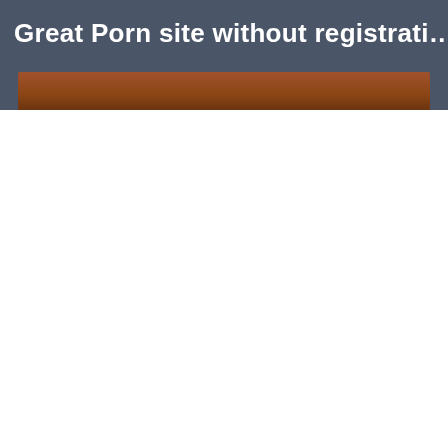Great Porn site without registrati…